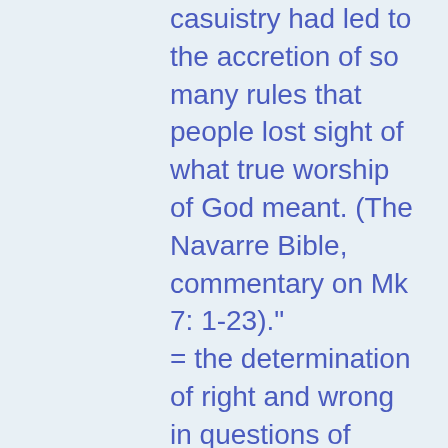casuistry had led to the accretion of so many rules that people lost sight of what true worship of God meant. (The Navarre Bible, commentary on Mk 7: 1-23)." = the determination of right and wrong in questions of